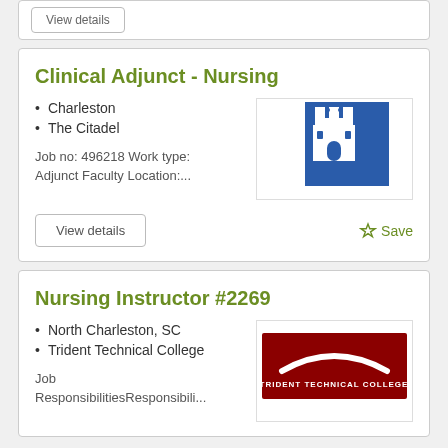Clinical Adjunct - Nursing
Charleston
The Citadel
Job no: 496218 Work type: Adjunct Faculty Location:...
[Figure (logo): The Citadel logo - blue square with white castle emblem]
View details
Save
Nursing Instructor #2269
North Charleston, SC
Trident Technical College
Job ResponsibilitiesResponsibili...
[Figure (logo): Trident Technical College logo - dark red background with white arch and text]